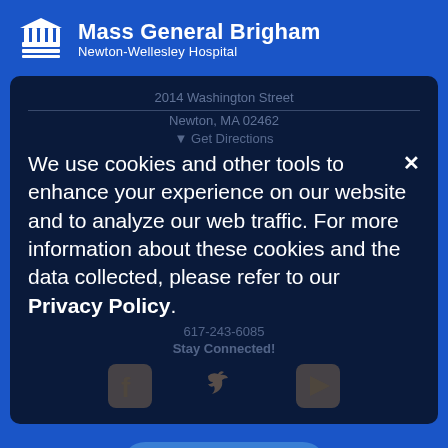[Figure (logo): Mass General Brigham logo with columns icon]
Mass General Brigham
Newton-Wellesley Hospital
2014 Washington Street
Newton, MA 02462
Get Directions
We use cookies and other tools to enhance your experience on our website and to analyze our web traffic. For more information about these cookies and the data collected, please refer to our Privacy Policy.
Stay Connected!
[Figure (illustration): Social media icons: Facebook, Twitter, YouTube]
Contact Us →